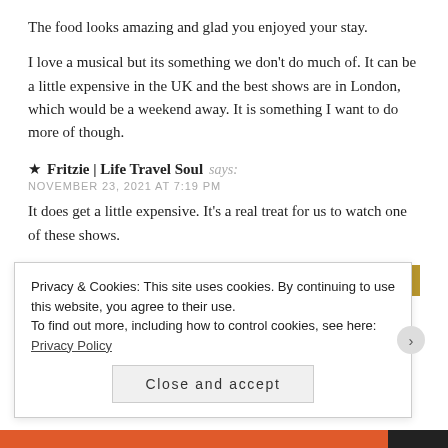The food looks amazing and glad you enjoyed your stay.
I love a musical but its something we don't do much of. It can be a little expensive in the UK and the best shows are in London, which would be a weekend away. It is something I want to do more of though.
★ Fritzie | Life Travel Soul says:
NOVEMBER 23, 2021 AT 7:19 PM
It does get a little expensive. It's a real treat for us to watch one of these shows.
arv! says:
NOVEMBER 16, 2021 AT 8:33 AM
I'm sure this must have restored a little more normalcy considering the
Privacy & Cookies: This site uses cookies. By continuing to use this website, you agree to their use.
To find out more, including how to control cookies, see here: Privacy Policy
Close and accept